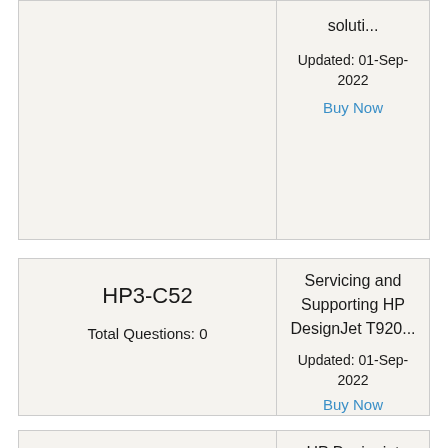| Exam Code / Questions | Description |
| --- | --- |
| (partial top) | soluti...
Updated: 01-Sep-2022
Buy Now |
| Exam Code / Questions | Description |
| --- | --- |
| HP3-C52
Total Questions: 0 | Servicing and Supporting HP DesignJet T920...
Updated: 01-Sep-2022
Buy Now |
| Exam Code / Questions | Description |
| --- | --- |
| HP3-G01
Total Questions: 0 | HP Designjet Entry... |